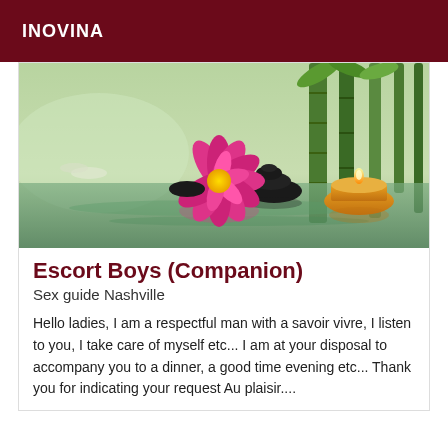INOVINA
[Figure (photo): Zen spa scene with a pink lotus flower floating on water, black massage stones stacked, bamboo stalks in background, and a lit yellow candle floating on water with reflections]
Escort Boys (Companion)
Sex guide Nashville
Hello ladies, I am a respectful man with a savoir vivre, I listen to you, I take care of myself etc... I am at your disposal to accompany you to a dinner, a good time evening etc... Thank you for indicating your request Au plaisir....